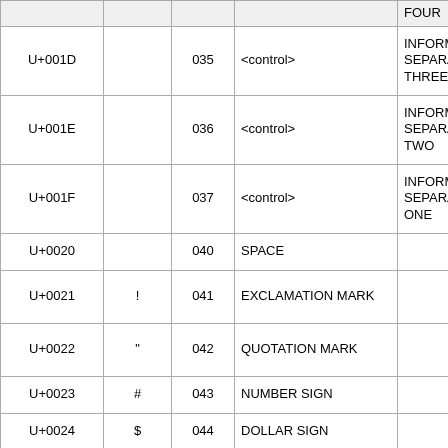| Code | Char | Oct | Name | Alt Name |
| --- | --- | --- | --- | --- |
|  |  |  |  | FOUR |
| U+001D |  | 035 | <control> | INFORMATION SEPARATOR THREE |
| U+001E |  | 036 | <control> | INFORMATION SEPARATOR TWO |
| U+001F |  | 037 | <control> | INFORMATION SEPARATOR ONE |
| U+0020 |  | 040 | SPACE |  |
| U+0021 | ! | 041 | EXCLAMATION MARK |  |
| U+0022 | " | 042 | QUOTATION MARK |  |
| U+0023 | # | 043 | NUMBER SIGN |  |
| U+0024 | $ | 044 | DOLLAR SIGN |  |
| U+0025 | % | 045 | PERCENT SIGN |  |
| U+0026 | & | 046 | AMPERSAND |  |
| U+0027 | ' | 047 | APOSTROPHE | APOSTROPHE QUOTE |
| U+0028 | ( | 050 | LEFT PARENTHESIS | OPENING PARENTHESIS |